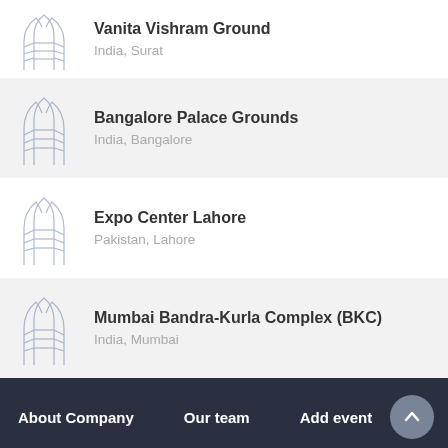Vanita Vishram Ground
India, Surat
Bangalore Palace Grounds
India, Bangalore
Expo Center Lahore
Pakistan, Lahore
Mumbai Bandra-Kurla Complex (BKC)
India, Mumbai
About Company   Our team   Add event
Contact us
Filters (2)